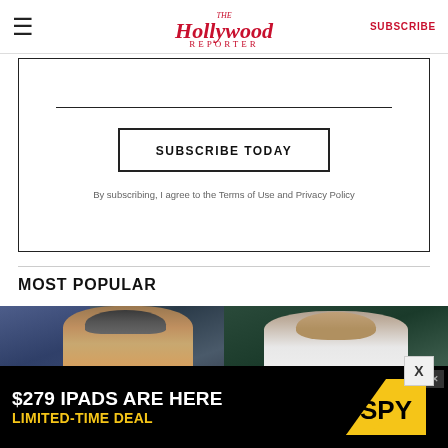The Hollywood Reporter — SUBSCRIBE
SUBSCRIBE TODAY
By subscribing, I agree to the Terms of Use and Privacy Policy
MOST POPULAR
[Figure (photo): Two men in separate film stills — left: man in knit beanie and hoodie; right: man in white shirt]
[Figure (infographic): Advertisement banner: $279 IPADS ARE HERE LIMITED-TIME DEAL — SPY logo]